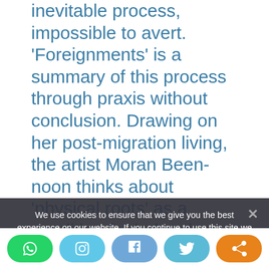inevitable process, impossible to avert. 'Foreignments' is a summary of this process through praxis without conclusion. Drawing on her post-migration living, the artist Moran Been-noon thinks about 'physical roots' as a condition for belonging, and terminologies like 'native' as unattainable properties which are assumed be desired but often unnecessary. This work leans into the understanding that the process of acculturation doesn't necessarily end in a state of belonging.
We use cookies to ensure that we give you the best experience on our website. If you continue to use this site we will assume that you are happy with it.
Been-noon uses the physicality of pronunciation, repeating words again and